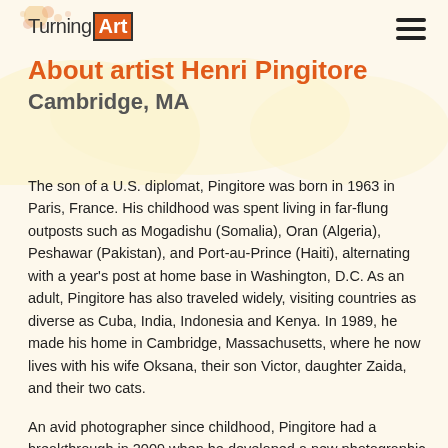TurningArt
About artist Henri Pingitore
Cambridge, MA
The son of a U.S. diplomat, Pingitore was born in 1963 in Paris, France. His childhood was spent living in far-flung outposts such as Mogadishu (Somalia), Oran (Algeria), Peshawar (Pakistan), and Port-au-Prince (Haiti), alternating with a year's post at home base in Washington, D.C. As an adult, Pingitore has also traveled widely, visiting countries as diverse as Cuba, India, Indonesia and Kenya. In 1989, he made his home in Cambridge, Massachusetts, where he now lives with his wife Oksana, their son Victor, daughter Zaida, and their two cats.
An avid photographer since childhood, Pingitore had a breakthrough in 2009 when he developed a new photographic expression of light. He has studied extensively under the artist-instructor Remy Dubois at FACIL-Art, a Cambridge-based, French-American language and art collaborative. Dubois has praised his